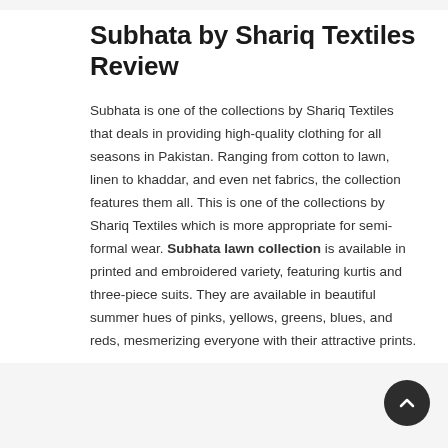Subhata by Shariq Textiles Review
Subhata is one of the collections by Shariq Textiles that deals in providing high-quality clothing for all seasons in Pakistan. Ranging from cotton to lawn, linen to khaddar, and even net fabrics, the collection features them all. This is one of the collections by Shariq Textiles which is more appropriate for semi-formal wear. Subhata lawn collection is available in printed and embroidered variety, featuring kurtis and three-piece suits. They are available in beautiful summer hues of pinks, yellows, greens, blues, and reds, mesmerizing everyone with their attractive prints.